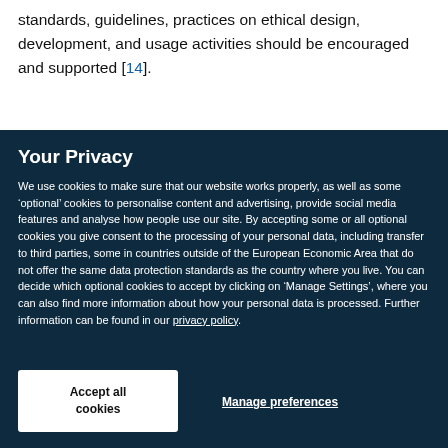standards, guidelines, practices on ethical design, development, and usage activities should be encouraged and supported [14].
Your Privacy
We use cookies to make sure that our website works properly, as well as some ‘optional’ cookies to personalise content and advertising, provide social media features and analyse how people use our site. By accepting some or all optional cookies you give consent to the processing of your personal data, including transfer to third parties, some in countries outside of the European Economic Area that do not offer the same data protection standards as the country where you live. You can decide which optional cookies to accept by clicking on ‘Manage Settings’, where you can also find more information about how your personal data is processed. Further information can be found in our privacy policy.
Accept all cookies
Manage preferences